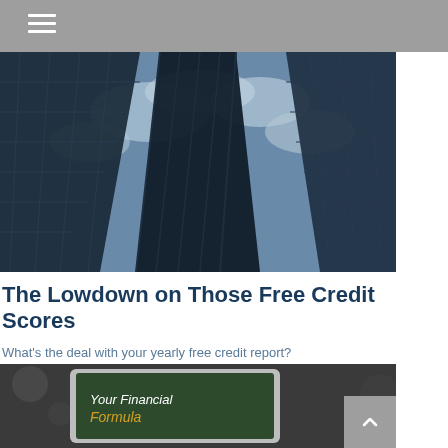Navigation menu header with hamburger icon
[Figure (photo): Upward worm's-eye view of tall glass skyscrapers against a partly cloudy blue sky]
The Lowdown on Those Free Credit Scores
What's the deal with your yearly free credit report?
[Figure (photo): Partial view of a tablet displaying 'Your Financial Formula' text on a dark green background]